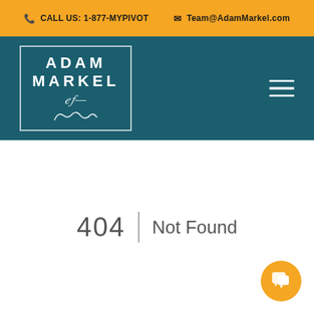CALL US: 1-877-MYPIVOT | Team@AdamMarkel.com
[Figure (logo): Adam Markel logo with name in white text inside a white-bordered box on teal background, with cursive signature below]
404 | Not Found